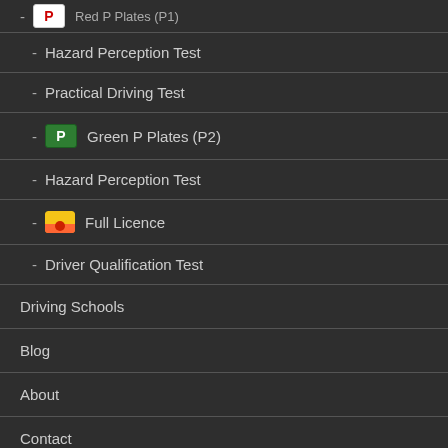Red P Plates (P1) [partially visible at top]
- Hazard Perception Test
- Practical Driving Test
Green P Plates (P2)
- Hazard Perception Test
Full Licence
- Driver Qualification Test
Driving Schools
Blog
About
Contact